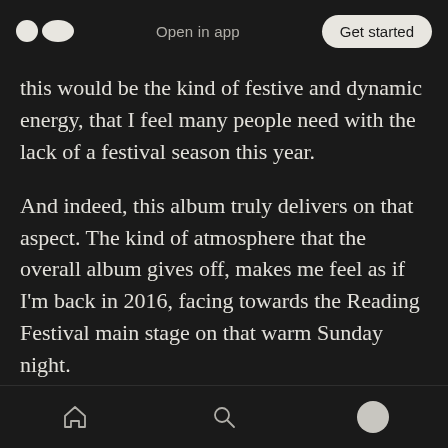Open in app | Get started
this would be the kind of festive and dynamic energy, that I feel many people need with the lack of a festival season this year.
And indeed, this album truly delivers on that aspect. The kind of atmosphere that the overall album gives off, makes me feel as if I'm back in 2016, facing towards the Reading Festival main stage on that warm Sunday night.
Aside from all of the teaser tracks that took me by storm, there are many strong numbers that served as brand new listens. In fact, there arose
Home | Search | Profile